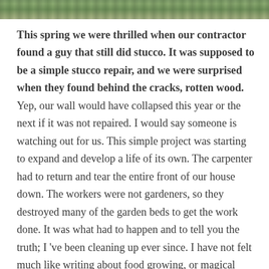[Figure (photo): Partial photo strip at the top of the page showing a garden or outdoor scene with green foliage and earth.]
This spring we were thrilled when our contractor found a guy that still did stucco. It was supposed to be a simple stucco repair, and we were surprised when they found behind the cracks, rotten wood. Yep, our wall would have collapsed this year or the next if it was not repaired. I would say someone is watching out for us. This simple project was starting to expand and develop a life of its own. The carpenter had to return and tear the entire front of our house down. The workers were not gardeners, so they destroyed many of the garden beds to get the work done. It was what had to happen and to tell you the truth; I 've been cleaning up ever since. I have not felt much like writing about food growing, or magical moments in the garden.